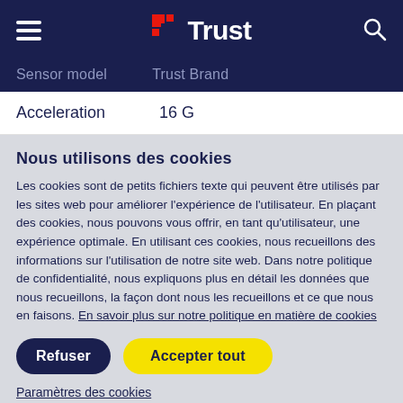Trust (logo)
Sensor model   Trust Brand
Acceleration   16 G
Nous utilisons des cookies
Les cookies sont de petits fichiers texte qui peuvent être utilisés par les sites web pour améliorer l'expérience de l'utilisateur. En plaçant des cookies, nous pouvons vous offrir, en tant qu'utilisateur, une expérience optimale. En utilisant ces cookies, nous recueillons des informations sur l'utilisation de notre site web. Dans notre politique de confidentialité, nous expliquons plus en détail les données que nous recueillons, la façon dont nous les recueillons et ce que nous en faisons. En savoir plus sur notre politique en matière de cookies
Refuser
Accepter tout
Paramètres des cookies